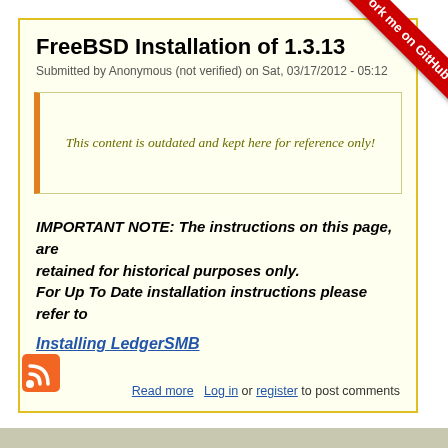[Figure (other): Red diagonal 'Fork me on GitHub' ribbon in top-right corner]
FreeBSD Installation of 1.3.13
Submitted by Anonymous (not verified) on Sat, 03/17/2012 - 05:12
This content is outdated and kept here for reference only!
IMPORTANT NOTE: The instructions on this page, are retained for historical purposes only.
For Up To Date installation instructions please refer to
Installing LedgerSMB
Read more   Log in or register to post comments
[Figure (other): RSS feed orange icon]